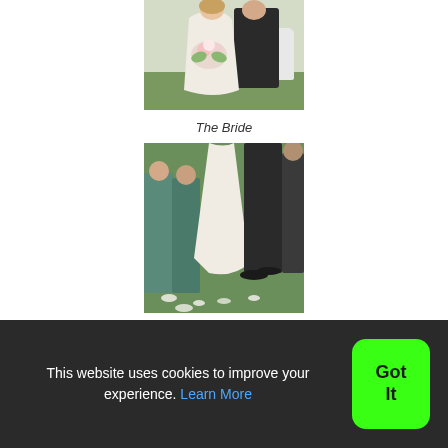[Figure (photo): Wedding photo showing a bride in a white lace gown holding a bouquet and a groom in a black suit, outdoors on a lawn with white chairs visible in the background.]
The Bride
[Figure (photo): Wedding ceremony photo showing the lower half of the bride and groom with bridesmaids in teal/sage dresses visible to the left. Flower petals on the grass.]
Why we're here
This website uses cookies to improve your experience. Learn More
Got It